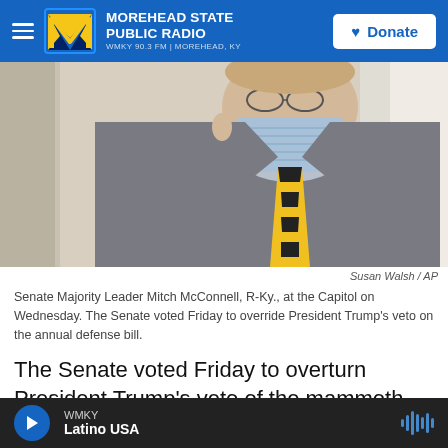Morehead State Public Radio — WMKY 90.3 FM | Morehead, KY — Donate
[Figure (photo): Person wearing a blue surgical mask and gray pinstripe suit with a yellow and black striped tie, photographed from shoulder level up in an indoor setting with white/cream background.]
Susan Walsh / AP
Senate Majority Leader Mitch McConnell, R-Ky., at the Capitol on Wednesday. The Senate voted Friday to override President Trump's veto on the annual defense bill.
The Senate voted Friday to overturn President Trump's veto of the mammoth annual defense bill in an unprecedented act that assures the decades
WMKY — Latino USA